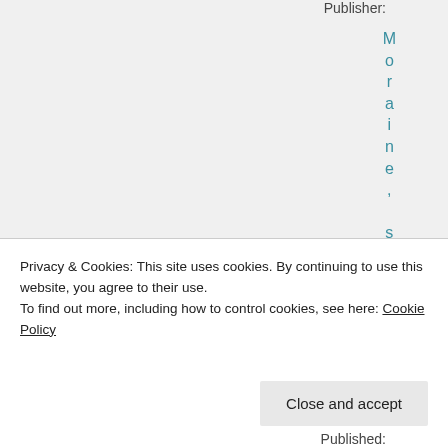Publisher:
Moraine, sEdg
Privacy & Cookies: This site uses cookies. By continuing to use this website, you agree to their use.
To find out more, including how to control cookies, see here: Cookie Policy
Close and accept
Published: